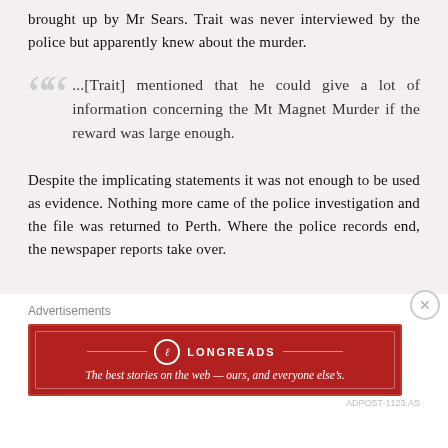brought up by Mr Sears. Trait was never interviewed by the police but apparently knew about the murder.
...[Trait] mentioned that he could give a lot of information concerning the Mt Magnet Murder if the reward was large enough.
Despite the implicating statements it was not enough to be used as evidence. Nothing more came of the police investigation and the file was returned to Perth. Where the police records end, the newspaper reports take over.
Advertisements
[Figure (other): Longreads advertisement banner: red background with Longreads logo and tagline 'The best stories on the web — ours, and everyone else's.']